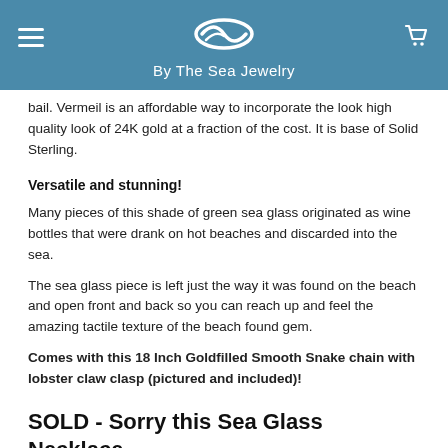By The Sea Jewelry
bail. Vermeil is an affordable way to incorporate the look high quality look of 24K gold at a fraction of the cost. It is base of Solid Sterling.
Versatile and stunning!
Many pieces of this shade of green sea glass originated as wine bottles that were drank on hot beaches and discarded into the sea.
The sea glass piece is left just the way it was found on the beach and open front and back so you can reach up and feel the amazing tactile texture of the beach found gem.
Comes with this 18 Inch Goldfilled Smooth Snake chain with lobster claw clasp (pictured and included)!
SOLD - Sorry this Sea Glass Necklace selection is NO LONGER AVAILABLE!